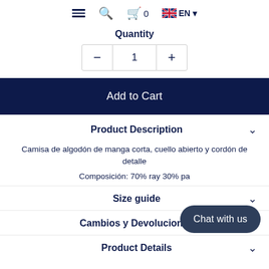≡  🔍  🛍 0  EN ▾
Quantity
— 1 +
Add to Cart
Product Description
Camisa de algodón de manga corta, cuello abierto y cordón de detalle
Composición: 70% ray 30% pa
Size guide
Cambios y Devoluciones
Product Details
Chat with us